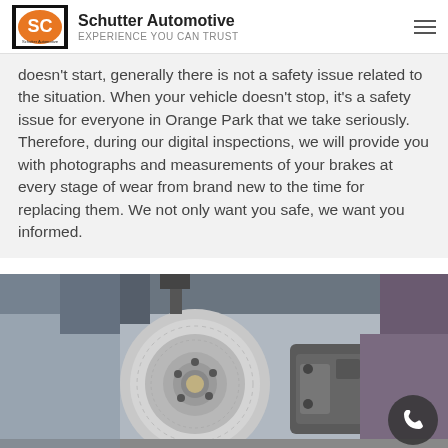Schutter Automotive | EXPERIENCE YOU CAN TRUST
doesn't start, generally there is not a safety issue related to the situation. When your vehicle doesn't stop, it's a safety issue for everyone in Orange Park that we take seriously. Therefore, during our digital inspections, we will provide you with photographs and measurements of your brakes at every stage of wear from brand new to the time for replacing them. We not only want you safe, we want you informed.
[Figure (photo): Close-up photograph of a vehicle brake disc rotor and caliper assembly, showing the metallic rotor with ventilation holes and the brake caliper mounted beside it.]